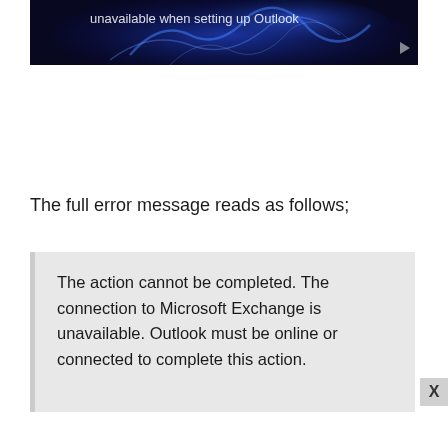[Figure (screenshot): Partial video thumbnail with dark blue background and text 'unavailable when setting up Outlook' with glowing blue smoke/flame visual effect]
The full error message reads as follows;
The action cannot be completed. The connection to Microsoft Exchange is unavailable. Outlook must be online or connected to complete this action.